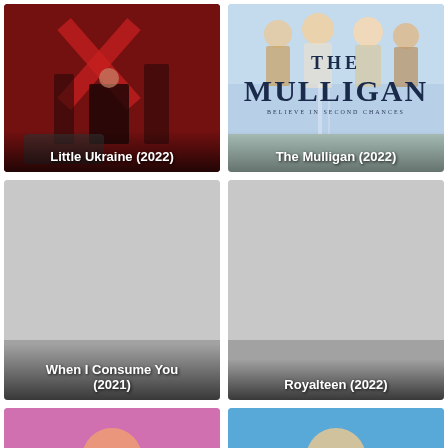[Figure (photo): Movie poster for Little Ukraine (2022) showing dramatic figures in red and dark tones]
Little Ukraine (2022)
[Figure (photo): Movie poster for The Mulligan (2022) with tagline Believe in Second Chances, showing group of people and large title text]
The Mulligan (2022)
[Figure (photo): Gray placeholder image for When I Consume You (2021)]
When I Consume You (2021)
[Figure (photo): Gray placeholder image for Royalteen (2022)]
Royalteen (2022)
[Figure (photo): Partially visible movie poster with pink/purple background (bottom of page, cut off)]
[Figure (photo): Partially visible movie poster with blue background (bottom of page, cut off)]